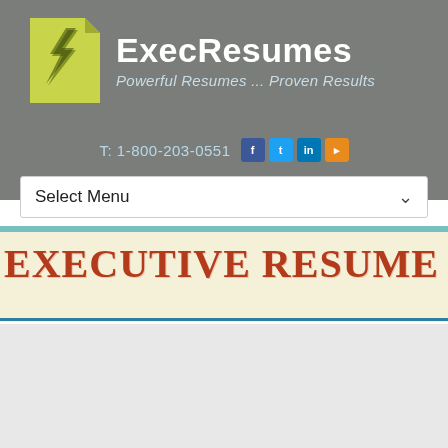[Figure (logo): ExecResumes logo with yellow-green lightning bolt graphic and white text reading ExecResumes, Powerful Resumes ... Proven Results]
T: 1-800-203-0551
[Figure (other): Social media icons: Facebook, Twitter, LinkedIn, RSS feed]
Select Menu
EXECUTIVE RESUME SERVICES